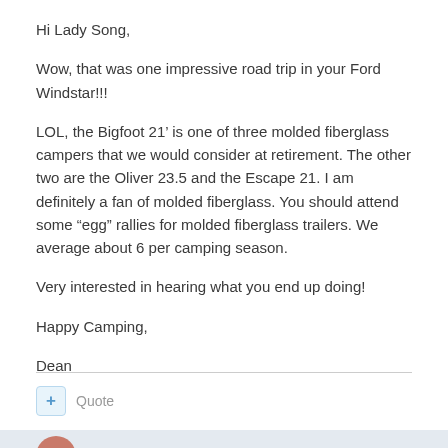Hi Lady Song,
Wow, that was one impressive road trip in your Ford Windstar!!!
LOL, the Bigfoot 21’ is one of three molded fiberglass campers that we would consider at retirement. The other two are the Oliver 23.5 and the Escape 21. I am definitely a fan of molded fiberglass. You should attend some “egg” rallies for molded fiberglass trailers. We average about 6 per camping season.
Very interested in hearing what you end up doing!
Happy Camping,
Dean
+ Quote
DeanCHS1980